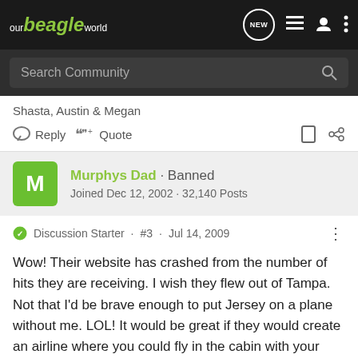our beagle world — NEW
Search Community
Shasta, Austin & Megan
Reply  Quote
Murphys Dad · Banned
Joined Dec 12, 2002 · 32,140 Posts
Discussion Starter · #3 · Jul 14, 2009
Wow! Their website has crashed from the number of hits they are receiving. I wish they flew out of Tampa. Not that I'd be brave enough to put Jersey on a plane without me. LOL! It would be great if they would create an airline where you could fly in the cabin with your pet. No restrictions. Just a limited number of passengers and pets. Maybe if I ever win the lottery that's the business I'd start.